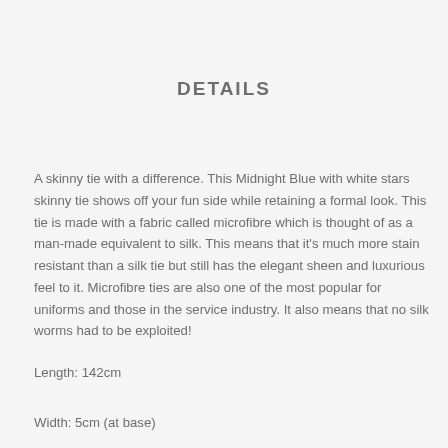DETAILS
A skinny tie with a difference. This Midnight Blue with white stars skinny tie shows off your fun side while retaining a formal look. This tie is made with a fabric called microfibre which is thought of as a man-made equivalent to silk. This means that it's much more stain resistant than a silk tie but still has the elegant sheen and luxurious feel to it. Microfibre ties are also one of the most popular for uniforms and those in the service industry. It also means that no silk worms had to be exploited!
Length: 142cm
Width: 5cm (at base)